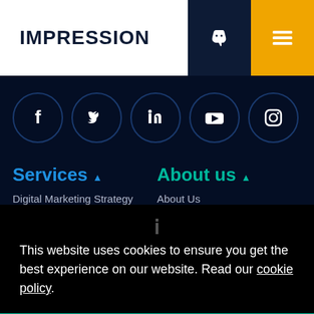IMPRESSION
[Figure (illustration): Social media icons row: Facebook, Twitter, LinkedIn, YouTube, Instagram — white icons in dark circular outlines on navy background]
Services ▲
About us ▲
Digital Marketing Strategy
About Us
This website uses cookies to ensure you get the best experience on our website. Read our cookie policy.
Yes, I accept cookies